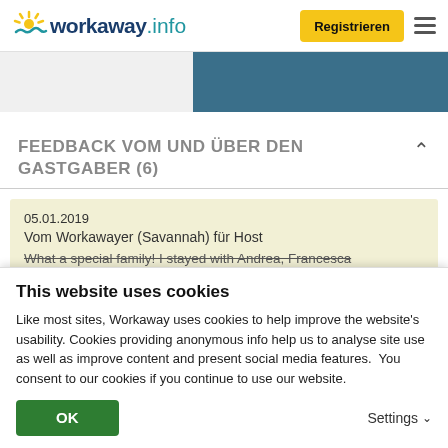workaway.info — Registrieren
[Figure (screenshot): Workaway.info website header with logo, Registrieren button, and hamburger menu]
FEEDBACK VOM UND ÜBER DEN GASTGABER (6)
05.01.2019
Vom Workawayer (Savannah) für Host
What a special family! I stayed with Andrea, Francesca...
This website uses cookies
Like most sites, Workaway uses cookies to help improve the website's usability. Cookies providing anonymous info help us to analyse site use as well as improve content and present social media features.  You consent to our cookies if you continue to use our website.
OK    Settings